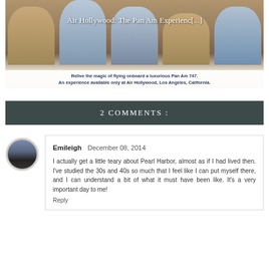[Figure (photo): Photo of Pan Am flight attendants in uniform on a vintage aircraft, with title overlay 'Air Hollywood: The Pan Am Experienc[...]' and caption below reading: 'Relive the magic of flying onboard a luxurious Pan Am 747. An experience available only at Air Hollywood, Los Angeles, California.']
Relive the magic of flying onboard a luxurious Pan Am 747. An experience available only at Air Hollywood, Los Angeles, California.
2 COMMENTS :
Emileigh  December 08, 2014

I actually get a little teary about Pearl Harbor, almost as if I had lived then. I've studied the 30s and 40s so much that I feel like I can put myself there, and I can understand a bit of what it must have been like. It's a very important day to me!

Reply